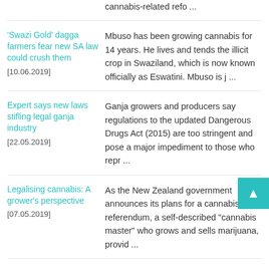cannabis-related refo ...
'Swazi Gold' dagga farmers fear new SA law could crush them [10.06.2019] | Mbuso has been growing cannabis for 14 years. He lives and tends the illicit crop in Swaziland, which is now known officially as Eswatini. Mbuso is j ...
Expert says new laws stifling legal ganja industry [22.05.2019] | Ganja growers and producers say regulations to the updated Dangerous Drugs Act (2015) are too stringent and pose a major impediment to those who repr ...
Legalising cannabis: A grower's perspective [07.05.2019] | As the New Zealand government announces its plans for a cannabis referendum, a self-described "cannabis master" who grows and sells marijuana, provid ...
Jamaicans are worried | Since 2015, Jamaica has become the